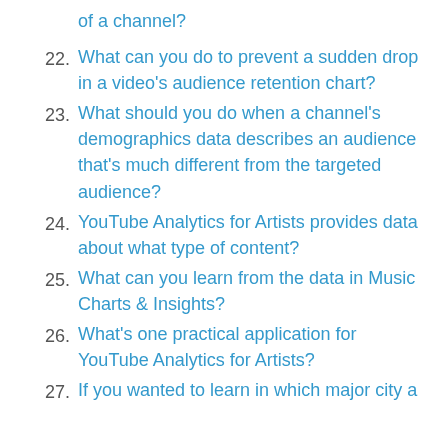of a channel?
22. What can you do to prevent a sudden drop in a video's audience retention chart?
23. What should you do when a channel's demographics data describes an audience that's much different from the targeted audience?
24. YouTube Analytics for Artists provides data about what type of content?
25. What can you learn from the data in Music Charts & Insights?
26. What's one practical application for YouTube Analytics for Artists?
27. If you wanted to learn in which major city a